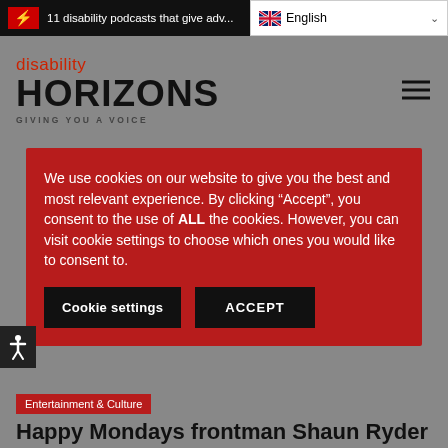11 disability podcasts that give adv...
[Figure (logo): Disability Horizons logo — 'disability HORIZONS GIVING YOU A VOICE' in red and black on grey background]
We use cookies on our website to give you the best and most relevant experience. By clicking “Accept”, you consent to the use of ALL the cookies. However, you can visit cookie settings to choose which ones you would like to consent to.
Cookie settings
ACCEPT
Entertainment & Culture
Happy Mondays frontman Shaun Ryder on being a rockstar with ADHD